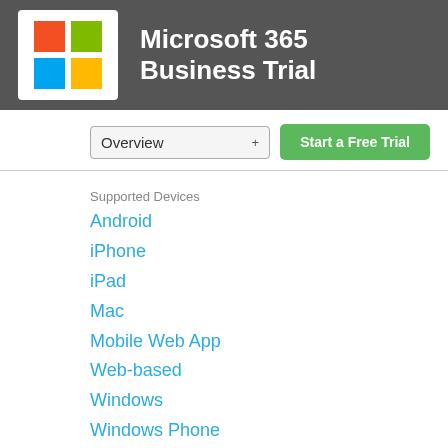Microsoft 365 Business Trial
Overview
Start a Free Trial
Supported Devices
Android
iPhone
iPad
Mac
Mobile Web App
Web-based
Windows
Windows Phone
Integration
Buyable
Developer
Microsoft